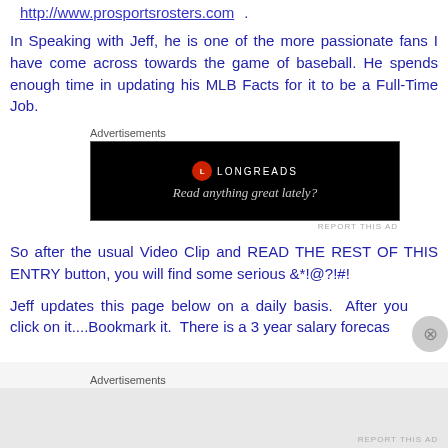http://www.prosportsrosters.com.
In Speaking with Jeff, he is one of the more passionate fans I have come across towards the game of baseball. He spends enough time in updating his MLB Facts for it to be a Full-Time Job.
[Figure (other): Longreads advertisement banner with black background and tagline 'Read anything great lately?']
So after the usual Video Clip and READ THE REST OF THIS ENTRY button, you will find some serious &*!@?!#!
Jeff updates this page below on a daily basis.  After you click on it....Bookmark it.  There is a 3 year salary forecas